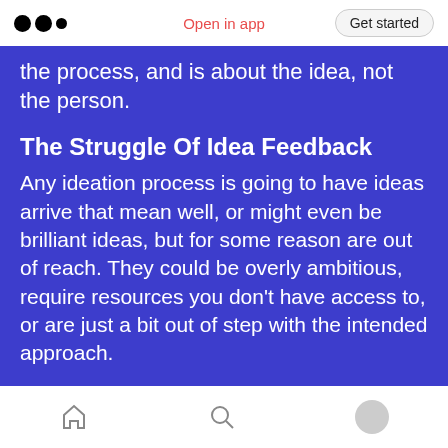Open in app | Get started
the process, and is about the idea, not the person.
The Struggle Of Idea Feedback
Any ideation process is going to have ideas arrive that mean well, or might even be brilliant ideas, but for some reason are out of reach. They could be overly ambitious, require resources you don't have access to, or are just a bit out of step with the intended approach.

Yet, any commitment to this process means you have to discuss these ideas honestly and clearly. Fortunately, it's easy if you keep a few key points in
home | search | profile